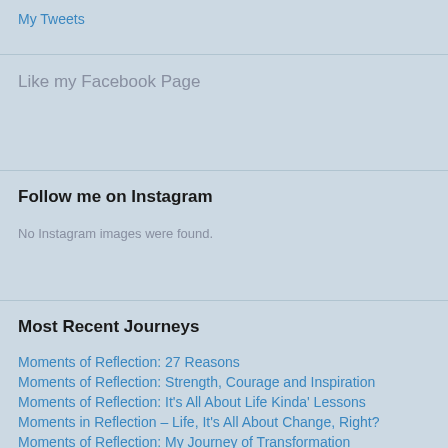My Tweets
Like my Facebook Page
Follow me on Instagram
No Instagram images were found.
Most Recent Journeys
Moments of Reflection: 27 Reasons
Moments of Reflection: Strength, Courage and Inspiration
Moments of Reflection: It's All About Life Kinda' Lessons
Moments in Reflection – Life, It's All About Change, Right?
Moments of Reflection: My Journey of Transformation